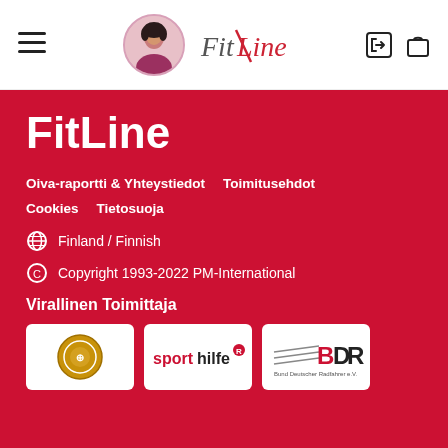FitLine navigation header with hamburger menu, user avatar, FitLine logo, login icon, cart icon
FitLine
Oiva-raportti & Yhteystiedot
Toimitusehdot
Cookies
Tietosuoja
⊕  Finland / Finnish
© Copyright 1993-2022 PM-International
Virallinen Toimittaja
[Figure (logo): Three sponsor/partner logos: a circular gold emblem, sporthilfe logo, and BDR (Bund Deutscher Radfahrer e.V.) logo]